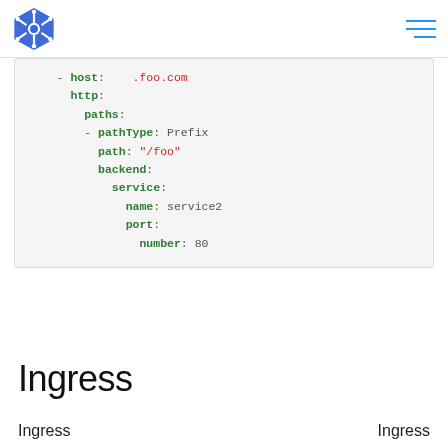Kubernetes logo and navigation
[Figure (screenshot): YAML code block showing Kubernetes Ingress configuration snippet with host: .foo.com, http paths, pathType: Prefix, path: /foo, backend service2 port 80]
Ingress
Ingress
Ingress